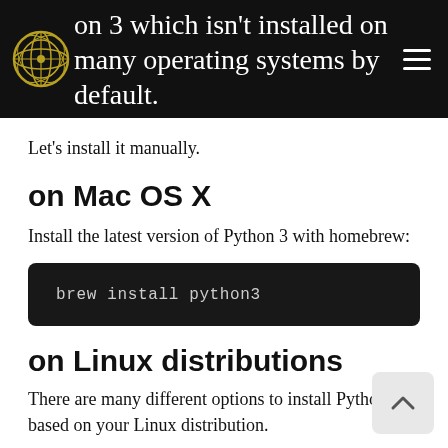Electronix developer decided to use newer Python 3 which isn't installed on many operating systems by default.
Let's install it manually.
on Mac OS X
Install the latest version of Python 3 with homebrew:
on Linux distributions
There are many different options to install Python 3.7 based on your Linux distribution.